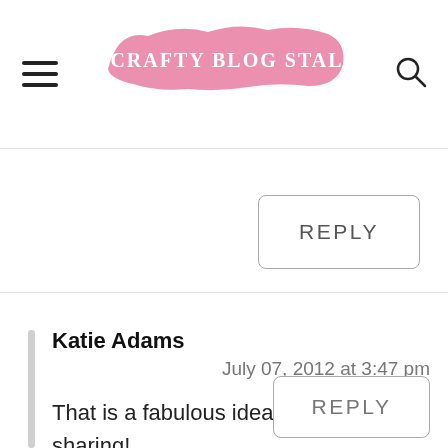The Crafty Blog Stalker
REPLY
Katie Adams
July 07, 2012 at 3:47 pm
That is a fabulous idea! Thanks for sharing!
REPLY